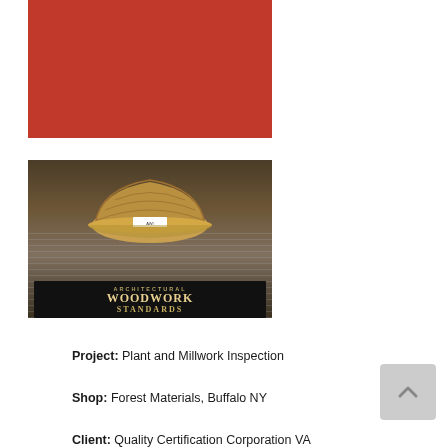[Figure (photo): Red/rust colored rectangular photo placeholder at top left]
[Figure (photo): Photo of a wood-grain patterned hard hat resting on a book titled 'Architectural Woodwork Standards', with architectural drawings/blueprints visible in the background]
Project: Plant and Millwork Inspection
Shop: Forest Materials, Buffalo NY
Client: Quality Certification Corporation VA (partial)